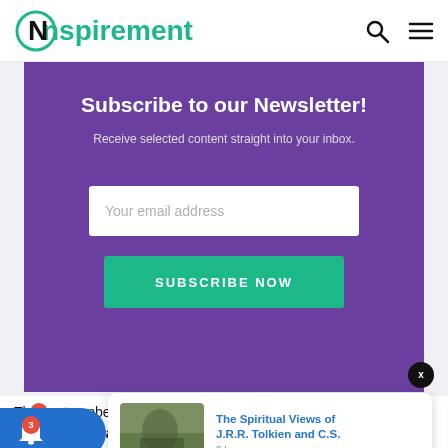Nspirement
Subscribe to our Newsletter!
Receive selected content straight into your inbox.
[Figure (screenshot): Email subscription form with text input field showing placeholder 'Your email address' and a teal 'SUBSCRIBE NOW' button on a purple background]
The outnumbered ent much forced their way into the comptroller general's office
[Figure (screenshot): Article preview card showing 'The Spiritual Views of J.R.R. Tolkien and C.S.' posted 9 hours ago, with a thumbnail photo of a person sitting outdoors]
The Spiritual Views of J.R.R. Tolkien and C.S.
9 hours ago